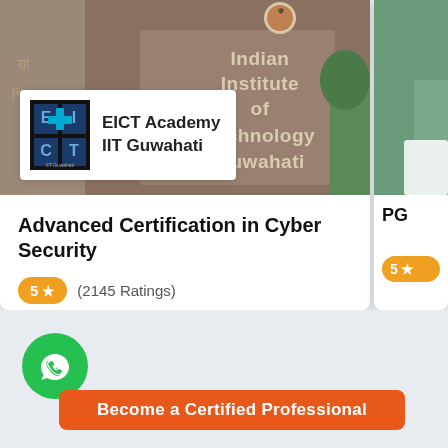[Figure (photo): Photo of IIT Guwahati campus entrance sign reading 'Indian Institute of Technology Guwahati' with an EICT Academy IIT Guwahati logo badge overlaid]
Advanced Certification in Cyber Security
5 ★ (2145 Ratings)
[Figure (logo): WhatsApp icon green circle with chat bubble logo]
PG
5 ★
Become a Certified Professional